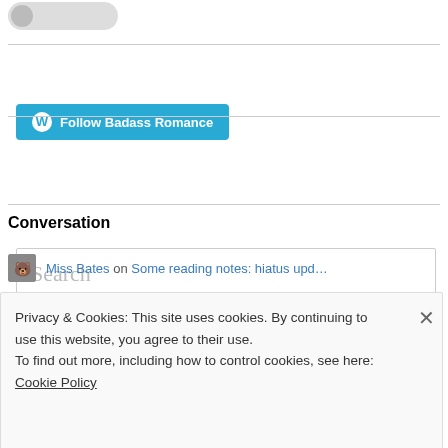[Figure (logo): Partial logo visible at top left]
[Figure (other): Follow Badass Romance button with WordPress icon]
[Figure (other): Search input box with placeholder text 'Search']
Conversation
Miss Bates on Some reading notes: hiatus upd…
Privacy & Cookies: This site uses cookies. By continuing to use this website, you agree to their use.
To find out more, including how to control cookies, see here: Cookie Policy
Close and accept